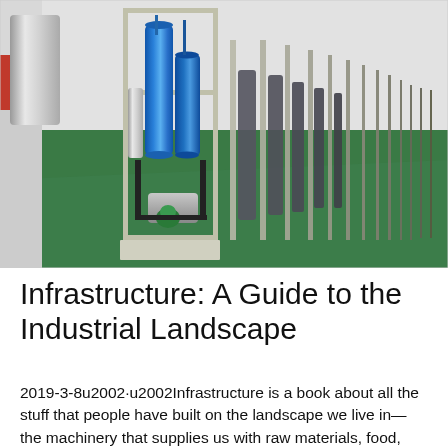[Figure (photo): Industrial water treatment or filtration system in a factory/warehouse. A metal frame rack holds tall blue cylindrical filter vessels and a pump at the base. Similar units visible in background receding into distance. Green painted concrete floor, light gray/white walls.]
Infrastructure: A Guide to the Industrial Landscape
2019-3-8u2002·u2002Infrastructure is a book about all the stuff that people have built on the landscape we live in—the machinery that supplies us with raw materials, food,